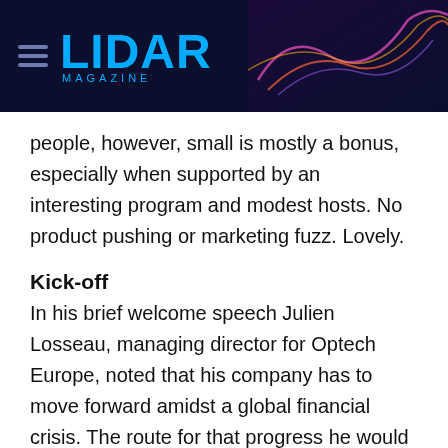LIDAR MAGAZINE
people, however, small is mostly a bonus, especially when supported by an interesting program and modest hosts. No product pushing or marketing fuzz. Lovely.
Kick-off
In his brief welcome speech Julien Losseau, managing director for Optech Europe, noted that his company has to move forward amidst a global financial crisis. The route for that progress he would reveal in a separate presentation following the keynote address.
Keynote address